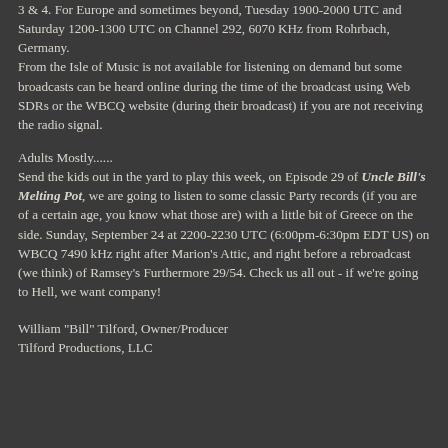3 & 4. For Europe and sometimes beyond, Tuesday 1900-2000 UTC and Saturday 1200-1300 UTC on Channel 292, 6070 KHz from Rohrbach, Germany.
From the Isle of Music is not available for listening on demand but some broadcasts can be heard online during the time of the broadcast using Web SDRs or the WBCQ website (during their broadcast) if you are not receiving the radio signal.
Adults Mostly......
Send the kids out in the yard to play this week, on Episode 29 of Uncle Bill's Melting Pot, we are going to listen to some classic Party records (if you are of a certain age, you know what those are) with a little bit of Greece on the side. Sunday, September 24 at 2200-2230 UTC (6:00pm-6:30pm EDT US) on WBCQ 7490 kHz right after Marion's Attic, and right before a rebroadcast (we think) of Ramsey's Furthermore 29/54. Check us all out - if we're going to Hell, we want company!
William "Bill" Tilford, Owner/Producer
Tilford Productions, LLC